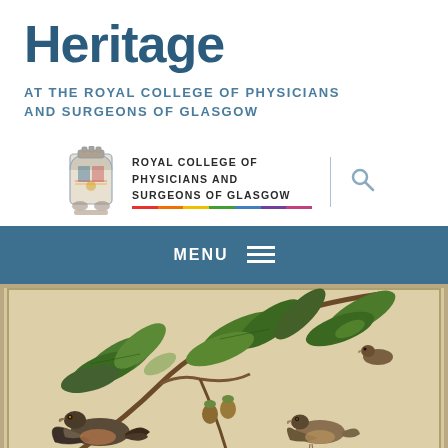Heritage
AT THE ROYAL COLLEGE OF PHYSICIANS AND SURGEONS OF GLASGOW
[Figure (logo): Royal College of Physicians and Surgeons of Glasgow logo with heraldic emblem and multicolour bar, with a search icon]
MENU
[Figure (photo): Audubon-style botanical and ornithological illustration showing birds perched among leafy branches with nuts/seeds]